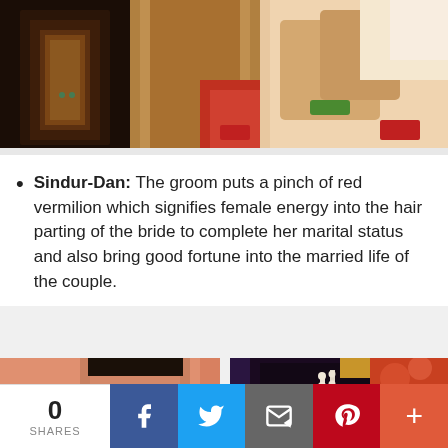[Figure (photo): Top portion of a wedding photo showing Indian bride and groom in traditional attire]
Sindur-Dan: The groom puts a pinch of red vermilion which signifies female energy into the hair parting of the bride to complete her marital status and also bring good fortune into the married life of the couple.
[Figure (photo): Wedding photo showing a groom applying sindur (vermilion) to the bride's hair parting during an Indian wedding ceremony]
0 SHARES | Facebook | Twitter | Email | Pinterest | More